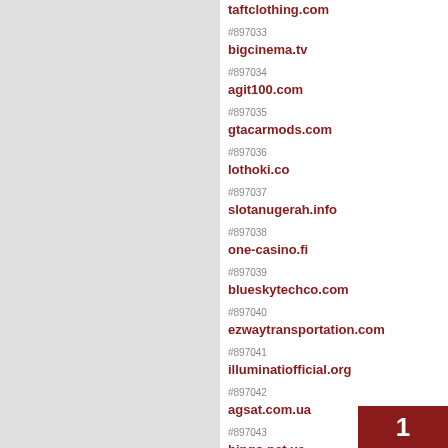#897033 taftclothing.com
#897034 bigcinema.tv
#897035 agit100.com
#897036 gtacarmods.com
#897037 lothoki.co
#897038 slotanugerah.info
#897039 one-casino.fi
#897040 blueskytechco.com
#897041 ezwaytransportation.com
#897042 illuminatiofficial.org
#897043 agsat.com.ua
#897044 bingo.net.ua
#897045 creatium.app
1